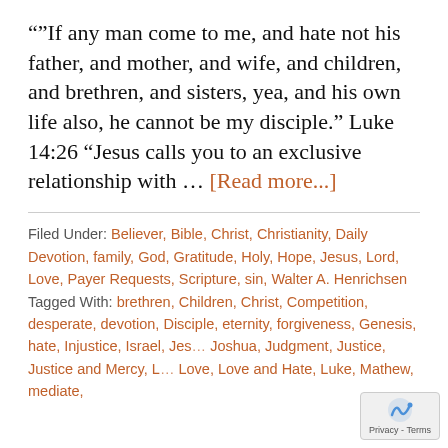"If any man come to me, and hate not his father, and mother, and wife, and children, and brethren, and sisters, yea, and his own life also, he cannot be my disciple." Luke 14:26 "Jesus calls you to an exclusive relationship with … [Read more...]
Filed Under: Believer, Bible, Christ, Christianity, Daily Devotion, family, God, Gratitude, Holy, Hope, Jesus, Lord, Love, Payer Requests, Scripture, sin, Walter A. Henrichsen
Tagged With: brethren, Children, Christ, Competition, desperate, devotion, Disciple, eternity, forgiveness, Genesis, hate, Injustice, Israel, Jesus, Joshua, Judgment, Justice, Justice and Mercy, Love, Love and Hate, Luke, Mathew, mediate,